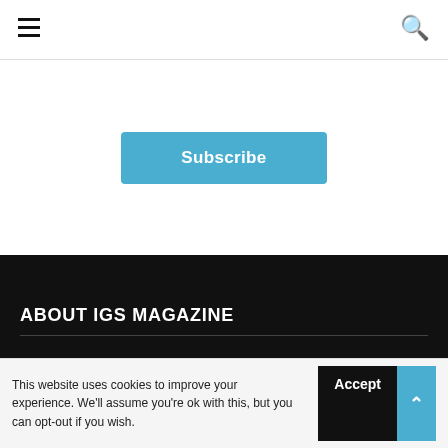IGS Magazine navigation bar with hamburger menu and search icon
[Figure (screenshot): Blue Subscribe button centered on white background]
ABOUT IGS MAGAZINE
This website uses cookies to improve your experience. We'll assume you're ok with this, but you can opt-out if you wish.